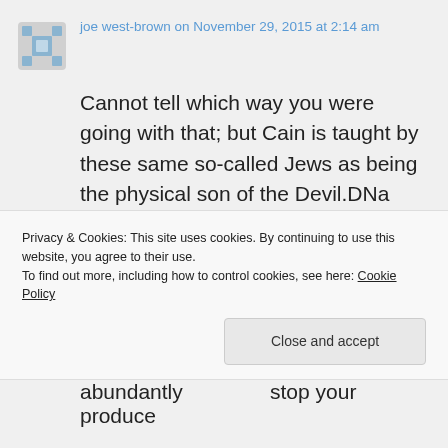joe west-brown on November 29, 2015 at 2:14 am
Cannot tell which way you were going with that; but Cain is taught by these same so-called Jews as being the physical son of the Devil.DNa FACT: ALL RACES CAN PROCEED from Blacks,Blond hair is unclean, white skin is Leprosy
Privacy & Cookies: This site uses cookies. By continuing to use this website, you agree to their use.
To find out more, including how to control cookies, see here: Cookie Policy
Close and accept
abundantly produce    stop your